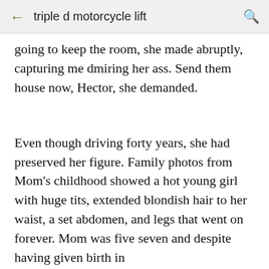triple d motorcycle lift
going to keep the room, she made abruptly, capturing me dmiring her ass. Send them house now, Hector, she demanded.
Even though driving forty years, she had preserved her figure. Family photos from Mom's childhood showed a hot young girl with huge tits, extended blondish hair to her waist, a set abdomen, and legs that went on forever. Mom was five seven and despite having given birth in